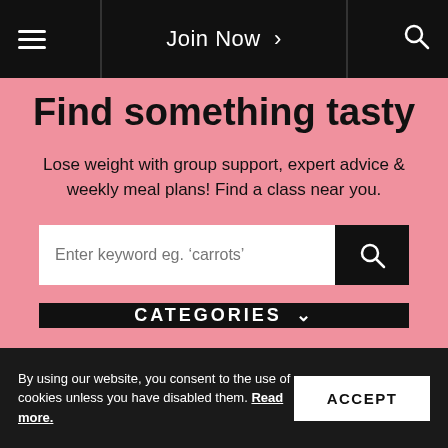Join Now >
Find something tasty
Lose weight with group support, expert advice & weekly meal plans! Find a class near you.
[Figure (screenshot): Search input bar with placeholder text 'Enter keyword eg. carrots' and a black search button]
[Figure (screenshot): Black button labeled CATEGORIES with a down chevron]
By using our website, you consent to the use of cookies unless you have disabled them. Read more.